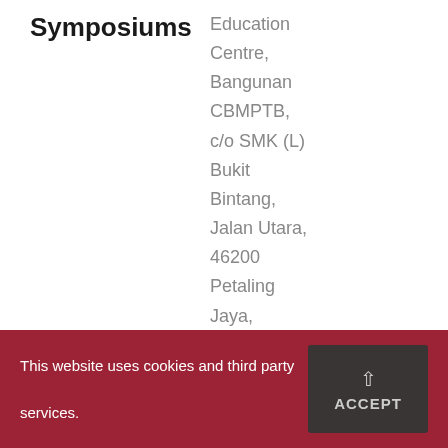Symposiums
Education Centre, Bangunan CBMPTB, c/o SMK (L) Bukit Bintang, Jalan Utara, 46200 Petaling Jaya, Selangor D.E., Malaysia
This website uses cookies and third party services.